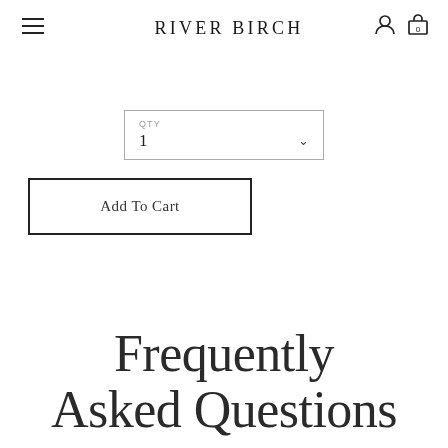RIVER BIRCH
[Figure (screenshot): QTY dropdown selector showing value 1 with dropdown arrow]
[Figure (screenshot): Add To Cart button with black border]
Frequently Asked Questions